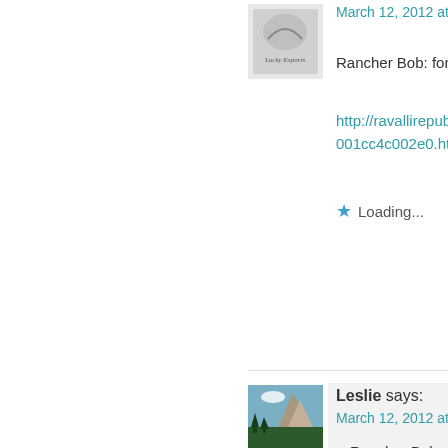[Figure (photo): Small avatar image with decorative logo/script text overlay, possibly a ranch or brand logo]
March 12, 2012 at 6:56 p
Rancher Bob: for you
http://ravallirepublic. 001cc4c002e0.html
Loading...
[Figure (photo): Mountain landscape photo - El Capitan or similar rock formation with trees in foreground]
Leslie says:
March 12, 2012 at 8:46 p
Rancher Bob
The Absaroka study, one migratory (the or some and housed the minute periods of eith were no more vigilan with.
The big difference wa herd spending much n
Last year there were n with about 10 wolves